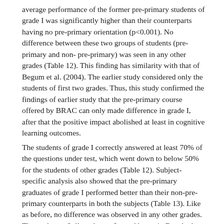average performance of the former pre-primary students of grade I was significantly higher than their counterparts having no pre-primary orientation (p<0.001). No difference between these two groups of students (pre-primary and non- pre-primary) was seen in any other grades (Table 12). This finding has similarity with that of Begum et al. (2004). The earlier study considered only the students of first two grades. Thus, this study confirmed the findings of earlier study that the pre-primary course offered by BRAC can only made difference in grade I, after that the positive impact abolished at least in cognitive learning outcomes.
The students of grade I correctly answered at least 70% of the questions under test, which went down to below 50% for the students of other grades (Table 12). Subject-specific analysis also showed that the pre-primary graduates of grade I performed better than their non-pre-primary counterparts in both the subjects (Table 13). Like as before, no difference was observed in any other grades. The students of all grades performed better in Bangla than Mathematics.
Table 12. Mean number of correctly answered items by grade and pre-primary orientation
Grade   Number of PP orientation   Level of ...